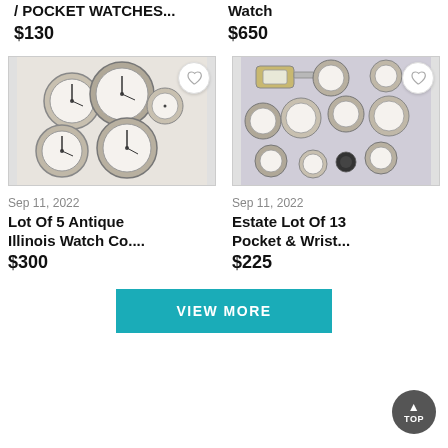/ POCKET WATCHES...
$130
Watch
$650
[Figure (photo): Five antique pocket watches arranged in a group on white background]
[Figure (photo): Collection of 13 pocket watches and wristwatches arranged on grey background]
Sep 11, 2022
Lot Of 5 Antique Illinois Watch Co....
$300
Sep 11, 2022
Estate Lot Of 13 Pocket & Wrist...
$225
VIEW MORE
TOP